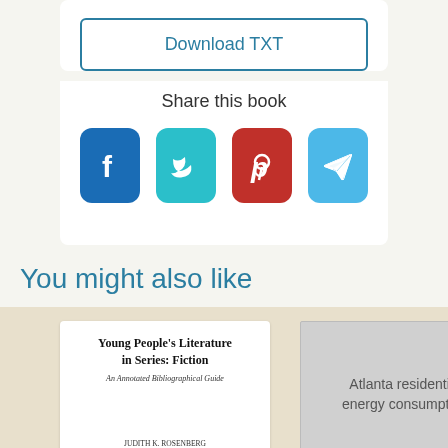[Figure (screenshot): Download TXT button with blue border on white background]
Share this book
[Figure (infographic): Social sharing icons: Facebook (blue), Twitter (teal), Pinterest (red), Telegram (light blue)]
You might also like
[Figure (photo): Book cover: Young People's Literature in Series: Fiction - An Annotated Bibliographical Guide]
[Figure (photo): Book placeholder: Atlanta residential energy consumption]